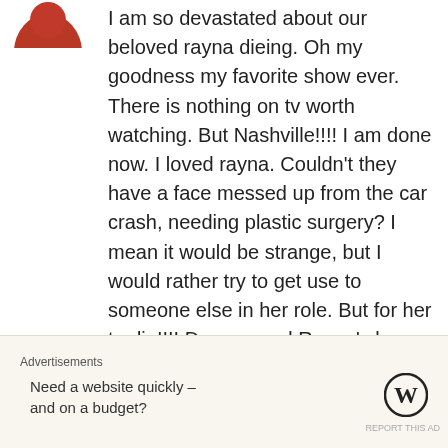[Figure (photo): Partial view of a user avatar icon (red/brown circular shape, top cropped) in upper left corner]
I am so devastated about our beloved rayna dieing. Oh my goodness my favorite show ever. There is nothing on tv worth watching. But Nashville!!!! I am done now. I loved rayna. Couldn't they have a face messed up from the car crash, needing plastic surgery? I mean it would be strange, but I would rather try to get use to someone else in her role. But for her to die!!!! Deacon and Rayna's love story that I'd what kept me watching. I won't watch it, nope no funeral,
Advertisements
Need a website quickly – and on a budget?
[Figure (logo): WordPress logo (W in circle)]